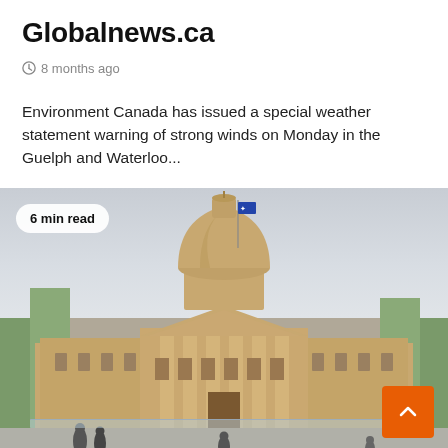Globalnews.ca
8 months ago
Environment Canada has issued a special weather statement warning of strong winds on Monday in the Guelph and Waterloo...
[Figure (photo): Photograph of a large neoclassical government building (Alberta Legislature) with a prominent dome, columns, and a flag, with people in the foreground plaza and trees on either side under a cloudy sky. A '6 min read' badge overlays the top-left corner, and an orange scroll-to-top button appears at the bottom right.]